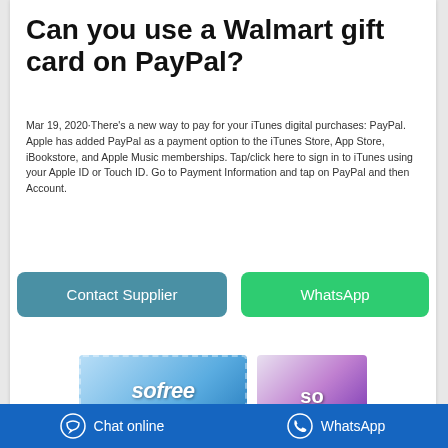Can you use a Walmart gift card on PayPal?
Mar 19, 2020·There's a new way to pay for your iTunes digital purchases: PayPal. Apple has added PayPal as a payment option to the iTunes Store, App Store, iBookstore, and Apple Music memberships. Tap/click here to sign in to iTunes using your Apple ID or Touch ID. Go to Payment Information and tap on PayPal and then Account.
[Figure (other): Two buttons: 'Contact Supplier' (teal/blue-grey) and 'WhatsApp' (green)]
[Figure (photo): Sofree Pure Cotton product package (blue)]
[Figure (photo): Sofy product package (purple/pink)]
Chat online | WhatsApp